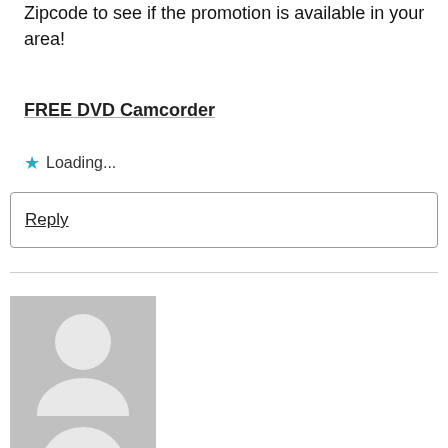Zipcode to see if the promotion is available in your area!
FREE DVD Camcorder
Loading...
Reply
[Figure (photo): Generic user avatar placeholder image showing a silhouette of a person on a grey background]